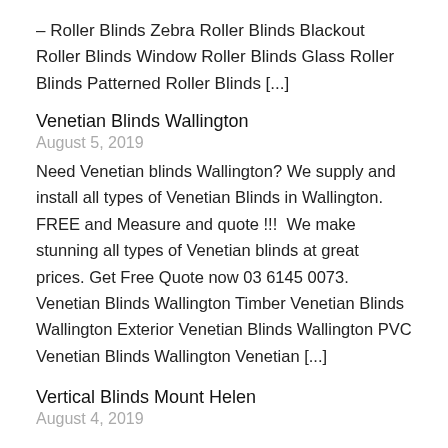– Roller Blinds Zebra Roller Blinds Blackout Roller Blinds Window Roller Blinds Glass Roller Blinds Patterned Roller Blinds [...]
Venetian Blinds Wallington
August 5, 2019
Need Venetian blinds Wallington? We supply and install all types of Venetian Blinds in Wallington. FREE and Measure and quote !!!  We make stunning all types of Venetian blinds at great prices. Get Free Quote now 03 6145 0073. Venetian Blinds Wallington Timber Venetian Blinds Wallington Exterior Venetian Blinds Wallington PVC Venetian Blinds Wallington Venetian [...]
Vertical Blinds Mount Helen
August 4, 2019